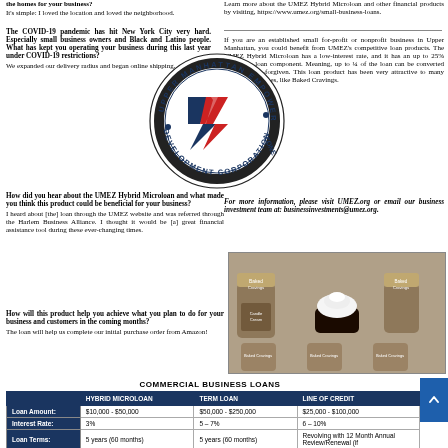the homes for your business? It's simple: I loved the location and loved the neighborhood.
Learn more about the UMEZ Hybrid Microloan and other financial products by visiting, https://www.umez.org/small-business-loans.
The COVID-19 pandemic has hit New York City very hard. Especially small business owners and Black and Latino people. What has kept you operating your business during this last year under COVID-19 restrictions? We expanded our delivery radius and began online shipping.
[Figure (logo): Upper Manhattan Empowerment Zone Development Corporation circular logo with EZ lightning bolt symbol in red, white and blue]
If you are an established small for-profit or nonprofit business in Upper Manhattan, you could benefit from UMEZ's competitive loan products. The UMEZ Hybrid Microloan has a low-interest rate, and it has an up to 25% forgivable loan component. Meaning, up to ¼ of the loan can be converted into a grant—forgiven. This loan product has been very attractive to many Harlem businesses, like Baked Cravings.
How did you hear about the UMEZ Hybrid Microloan and what made you think this product could be beneficial for your business? I heard about [the] loan through the UMEZ website and was referred through the Harlem Business Alliance. I thought it would be [a] great financial assistance tool during these ever-changing times.
For more information, please visit UMEZ.org or email our business investment team at: businessinvestments@umez.org.
[Figure (photo): Photo of Baked Cravings products: jars of candle cream and a chocolate cupcake with white frosting]
How will this product help you achieve what you plan to do for your business and customers in the coming months? The loan will help us complete our initial purchase order from Amazon!
COMMERCIAL BUSINESS LOANS
|  | HYBRID MICROLOAN | TERM LOAN | LINE OF CREDIT |
| --- | --- | --- | --- |
| Loan Amount: | $10,000 - $50,000 | $50,000 - $250,000 | $25,000 - $100,000 |
| Interest Rate: | 3% | 5 – 7% | 6 – 10% |
| Loan Terms: | 5 years (60 months) | 5 years (60 months) | Revolving with 12 Month Annual Review/Renewal (if |